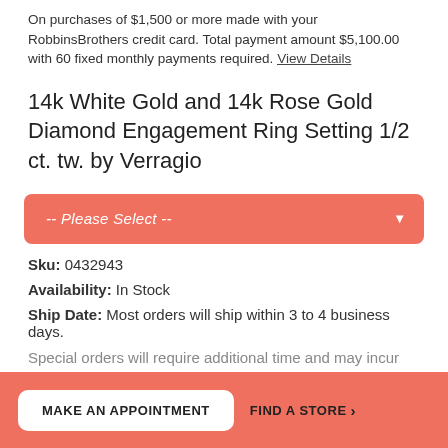On purchases of $1,500 or more made with your RobbinsBrothers credit card. Total payment amount $5,100.00 with 60 fixed monthly payments required. View Details
14k White Gold and 14k Rose Gold Diamond Engagement Ring Setting 1/2 ct. tw. by Verragio
-- Please Select --
Sku: 0432943
Availability: In Stock
Ship Date: Most orders will ship within 3 to 4 business days.
Special orders will require additional time and may incur additional fees.
If you would like to pick up your order at one of our stores,
MAKE AN APPOINTMENT   FIND A STORE >